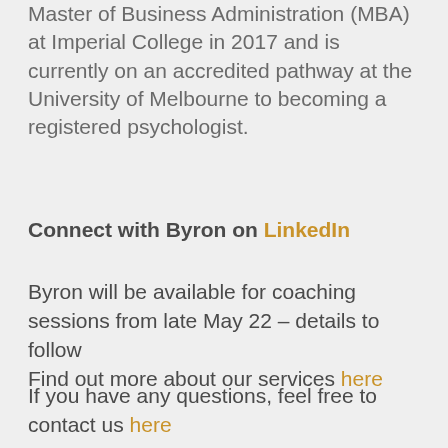Master of Business Administration (MBA) at Imperial College in 2017 and is currently on an accredited pathway at the University of Melbourne to becoming a registered psychologist.
Connect with Byron on LinkedIn
Byron will be available for coaching sessions from late May 22 – details to follow
Find out more about our services here
If you have any questions, feel free to contact us here